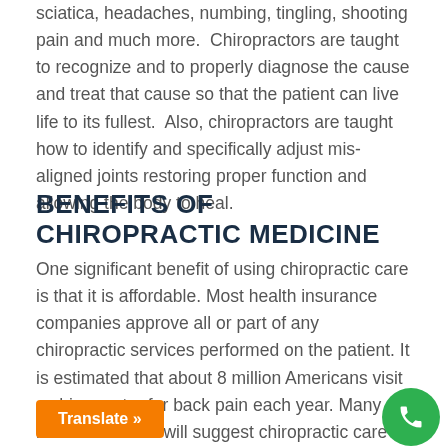sciatica, headaches, numbing, tingling, shooting pain and much more.  Chiropractors are taught to recognize and to properly diagnose the cause and treat that cause so that the patient can live life to its fullest.  Also, chiropractors are taught how to identify and specifically adjust mis-aligned joints restoring proper function and allowing the body to heal.
BENEFITS OF CHIROPRACTIC MEDICINE
One significant benefit of using chiropractic care is that it is affordable. Most health insurance companies approve all or part of any chiropractic services performed on the patient. It is estimated that about 8 million Americans visit a chiropractor for back pain each year. Many medical doctors will suggest chiropractic care to their patients who suffer with back, neck, headaches, knee, shoulder syndrome, sciatica and much more.